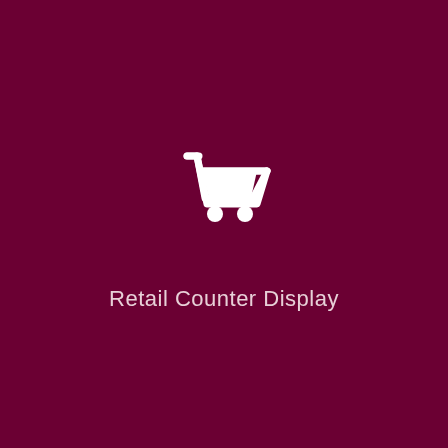[Figure (illustration): White shopping cart icon on dark maroon background]
Retail Counter Display